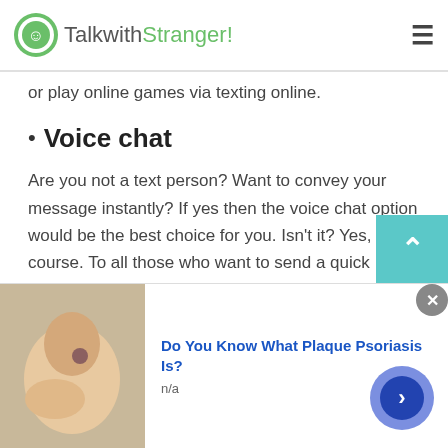TalkwithStranger!
or play online games via texting online.
Voice chat
Are you not a text person? Want to convey your message instantly? If yes then the voice chat option would be the best choice for you. Isn't it? Yes, of course. To all those who want to send a quick message to their online friends or loved ones, voice chat can help you say it all.
If we say talking to strangers in Brazil via TWS voice
[Figure (screenshot): Advertisement banner: Do You Know What Plaque Psoriasis Is? n/a, with a photo of a hand/skin and a close button.]